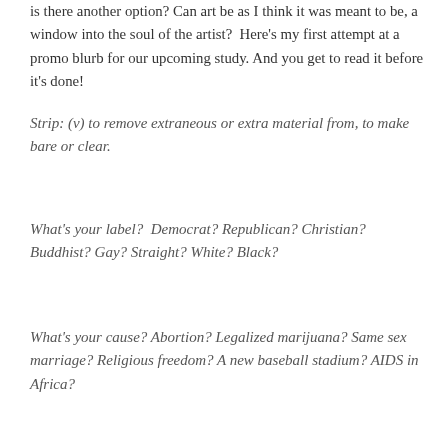is there another option? Can art be as I think it was meant to be, a window into the soul of the artist?  Here's my first attempt at a promo blurb for our upcoming study. And you get to read it before it's done!
Strip: (v) to remove extraneous or extra material from, to make bare or clear.
What's your label?  Democrat? Republican? Christian? Buddhist? Gay? Straight? White? Black?
What's your cause? Abortion? Legalized marijuana? Same sex marriage? Religious freedom? A new baseball stadium? AIDS in Africa?